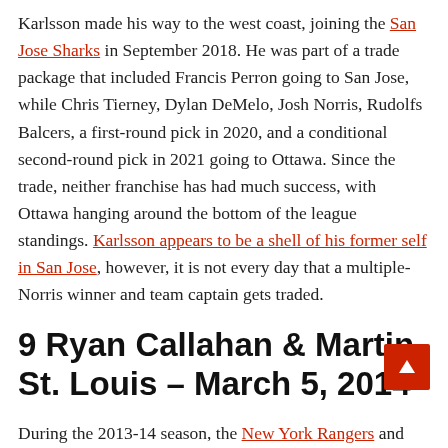Karlsson made his way to the west coast, joining the San Jose Sharks in September 2018. He was part of a trade package that included Francis Perron going to San Jose, while Chris Tierney, Dylan DeMelo, Josh Norris, Rudolfs Balcers, a first-round pick in 2020, and a conditional second-round pick in 2021 going to Ottawa. Since the trade, neither franchise has had much success, with Ottawa hanging around the bottom of the league standings. Karlsson appears to be a shell of his former self in San Jose, however, it is not every day that a multiple-Norris winner and team captain gets traded.
9 Ryan Callahan & Martin St. Louis – March 5, 2014
During the 2013-14 season, the New York Rangers and Tampa Bay Lightning were on different paths. The